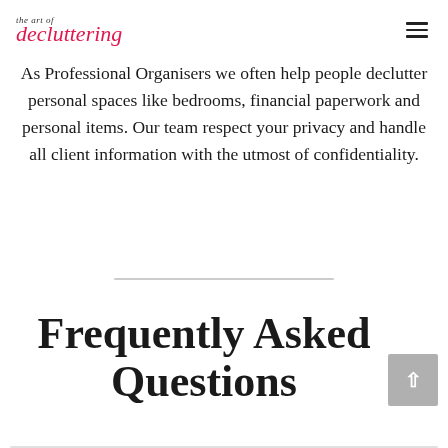the art of decluttering
As Professional Organisers we often help people declutter personal spaces like bedrooms, financial paperwork and personal items. Our team respect your privacy and handle all client information with the utmost of confidentiality.
Frequently Asked Questions